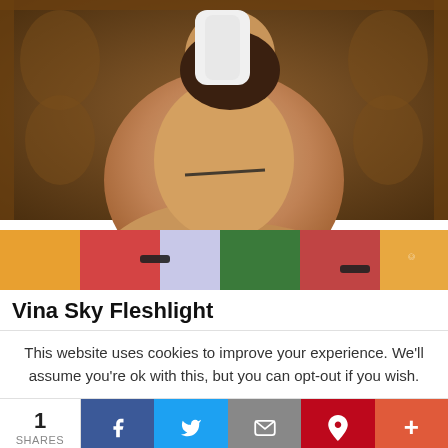[Figure (photo): A person posing in front of an ornate carved wooden backdrop, sitting on colorful fabric, wearing minimal clothing and ankle accessories, holding a white object near face.]
Vina Sky Fleshlight
This website uses cookies to improve your experience. We’ll assume you’re ok with this, but you can opt-out if you wish.
1 SHARES | f | (twitter bird) | (envelope) | (pinterest P) | +